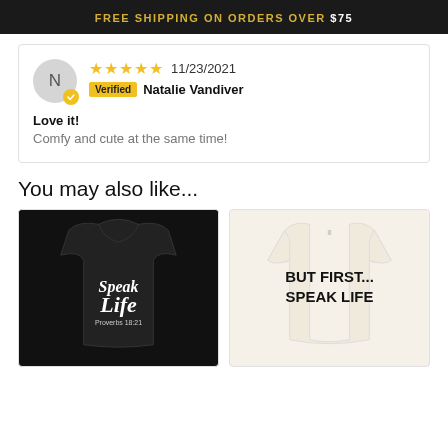FREE SHIPPING ON ORDERS OVER $75
★★★★★ 11/23/2021 Verified Natalie Vandiver
Love it!
Comfy and cute at the same time!
You may also like...
[Figure (photo): Black hoodie with 'Speak Life Proverbs 18:21' graphic]
[Figure (photo): Cream t-shirt with 'BUT FIRST... SPEAK LIFE' text]